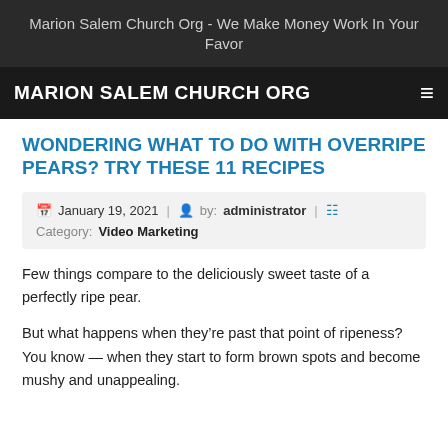Marion Salem Church Org - We Make Money Work In Your Favor
MARION SALEM CHURCH ORG
WONDERING WHAT TO DO WITH OVERRIPE PEARS? TRY THESE 11 RECIPES
January 19, 2021 | by: administrator | Category: Video Marketing
Few things compare to the deliciously sweet taste of a perfectly ripe pear.
But what happens when theyâre past that point of ripeness? You know â when they start to form brown spots and become mushy and unappealing.